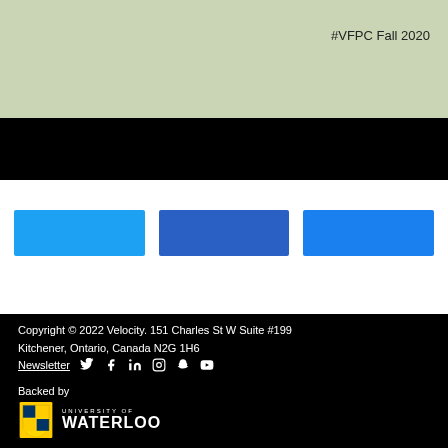#VFPC Fall 2020
[Figure (other): Three colored button/banner rectangles: light blue, dark blue, bright blue]
Copyright © 2022 Velocity. 151 Charles St W Suite #199 Kitchener, Ontario, Canada N2G 1H6
Newsletter | Twitter | Facebook | LinkedIn | Instagram | Snapchat | YouTube
Backed by
University of Waterloo